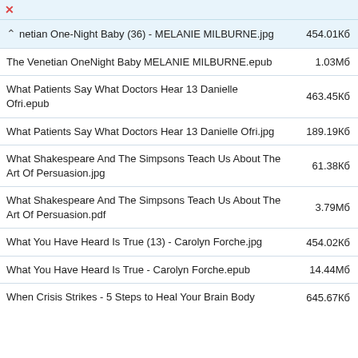| Filename | Size |
| --- | --- |
| netian One-Night Baby (36) - MELANIE MILBURNE.jpg | 454.01Кб |
| The Venetian OneNight Baby MELANIE MILBURNE.epub | 1.03Мб |
| What Patients Say What Doctors Hear 13 Danielle Ofri.epub | 463.45Кб |
| What Patients Say What Doctors Hear 13 Danielle Ofri.jpg | 189.19Кб |
| What Shakespeare And The Simpsons Teach Us About The Art Of Persuasion.jpg | 61.38Кб |
| What Shakespeare And The Simpsons Teach Us About The Art Of Persuasion.pdf | 3.79Мб |
| What You Have Heard Is True (13) - Carolyn Forche.jpg | 454.02Кб |
| What You Have Heard Is True - Carolyn Forche.epub | 14.44Мб |
| When Crisis Strikes - 5 Steps to Heal Your Brain Body | 645.67Кб |